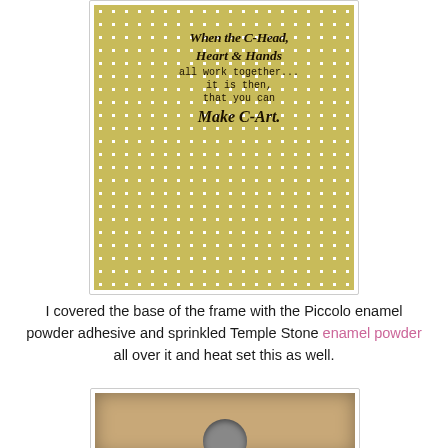[Figure (photo): A yellow/olive polka-dot patterned card or paper with cursive and typewriter stamped text reading: 'When the C-Head, Heart & Hands all work together... it is then, that you can Make C-Art.']
I covered the base of the frame with the Piccolo enamel powder adhesive and sprinkled Temple Stone enamel powder all over it and heat set this as well.
[Figure (photo): A wooden picture frame with a square/rectangular shape and a circular hole in the center, photographed from slightly above on a white background.]